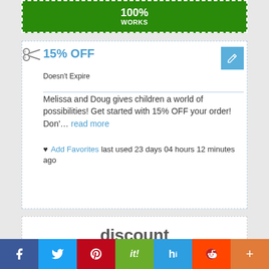100% WORKS
15% OFF
Doesn't Expire
Melissa and Doug gives children a world of possibilities! Get started with 15% OFF your order! Don'… read more
♥ Add Favorites last used 23 days 04 hours 12 minutes ago
discount
Deals & Offers
Leqq.com